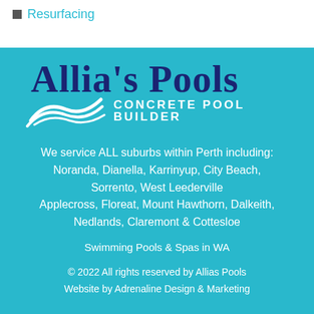Resurfacing
[Figure (logo): Allia's Pools logo with wave graphic and text 'CONCRETE POOL BUILDER' on teal background]
We service ALL suburbs within Perth including: Noranda, Dianella, Karrinyup, City Beach, Sorrento, West Leederville Applecross, Floreat, Mount Hawthorn, Dalkeith, Nedlands, Claremont & Cottesloe
Swimming Pools & Spas in WA
© 2022 All rights reserved by Allias Pools
Website by Adrenaline Design & Marketing